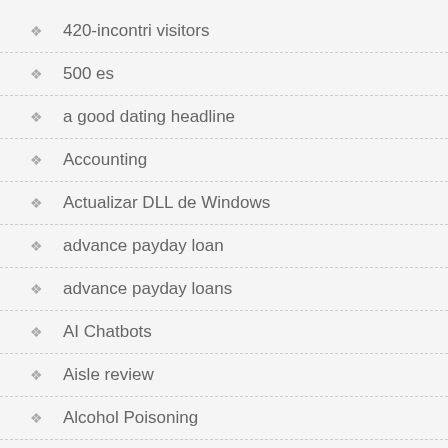420-incontri visitors
500 es
a good dating headline
Accounting
Actualizar DLL de Windows
advance payday loan
advance payday loans
AI Chatbots
Aisle review
Alcohol Poisoning